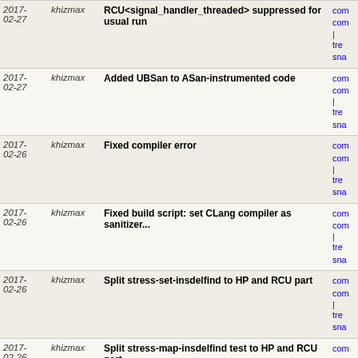| Date | Author | Message | Links |
| --- | --- | --- | --- |
| 2017-02-27 | khizmax | RCU<signal_handler_threaded> suppressed for usual run | comm
comm
| tre
snap |
| 2017-02-27 | khizmax | Added UBSan to ASan-instrumented code | comm
comm
| tre
snap |
| 2017-02-26 | khizmax | Fixed compiler error | comm
comm
| tre
snap |
| 2017-02-26 | khizmax | Fixed build script: set CLang compiler as sanitizer... | comm
comm
| tre
snap |
| 2017-02-26 | khizmax | Split stress-set-insdelfind to HP and RCU part | comm
comm
| tre
snap |
| 2017-02-26 | khizmax | Split stress-map-insdelfind test to HP and RCU part | comm
comm
| tre
snap |
| 2017-02-26 | khizmax | Fixed CI scripts for build machines | comm
comm
| tre
snap |
| 2017-02-26 | khizmax | Fixed CI generator script | comm
comm
| tre
snap |
| 2017-02-26 | khizmax | Fixed file attrs | comm
comm
| tre
snap |
| 2017-02-26 | khizmax | Added Jenkins CI configs for some build machines | comm
comm
| tre
snap |